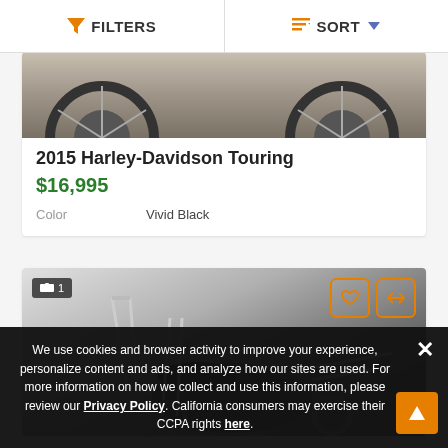FILTERS   SORT
[Figure (photo): Partial view of a Harley-Davidson motorcycle showing the rear tire and chrome elements against a concrete background]
2015 Harley-Davidson Touring
$16,995
Color   Vivid Black
[Figure (photo): Black and white photo of a motorcycle with handlebars and exhaust pipes visible, image badge showing 1 photo]
We use cookies and browser activity to improve your experience, personalize content and ads, and analyze how our sites are used. For more information on how we collect and use this information, please review our Privacy Policy. California consumers may exercise their CCPA rights here.